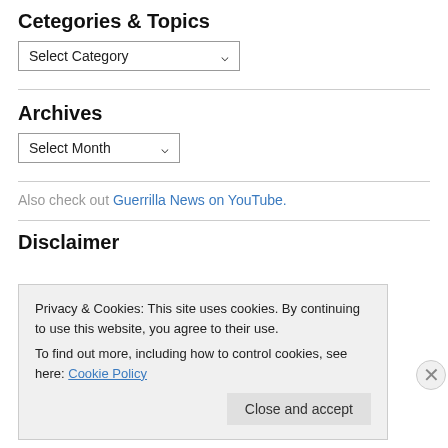Cetegories & Topics
Select Category (dropdown)
Archives
Select Month (dropdown)
Also check out Guerrilla News on YouTube.
Disclaimer
Privacy & Cookies: This site uses cookies. By continuing to use this website, you agree to their use.
To find out more, including how to control cookies, see here: Cookie Policy
Close and accept